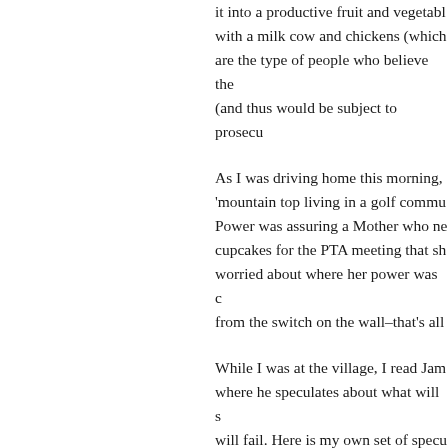it into a productive fruit and vegetable with a milk cow and chickens (which are the type of people who believe the (and thus would be subject to prosecu
As I was driving home this morning, 'mountain top living in a golf commu. Power was assuring a Mother who ne cupcakes for the PTA meeting that sh worried about where her power was c from the switch on the wall–that's all
While I was at the village, I read Jam where he speculates about what will s will fail. Here is my own set of specu 1. Mountaintop golf communities wil rich or for warlords. The Social Secu residents are relying on to keep them fail. And there is zero resilience in th